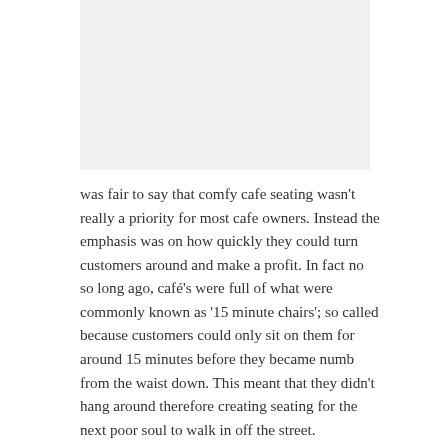[Figure (other): Grey rectangular image placeholder at top of page]
was fair to say that comfy cafe seating wasn't really a priority for most cafe owners. Instead the emphasis was on how quickly they could turn customers around and make a profit. In fact no so long ago, café's were full of what were commonly known as '15 minute chairs'; so called because customers could only sit on them for around 15 minutes before they became numb from the waist down. This meant that they didn't hang around therefore creating seating for the next poor soul to walk in off the street.
While this worked at a time when a cafe was a noisy place where you grabbed a quick coffee and sandwich, something happened at the end of 20th century